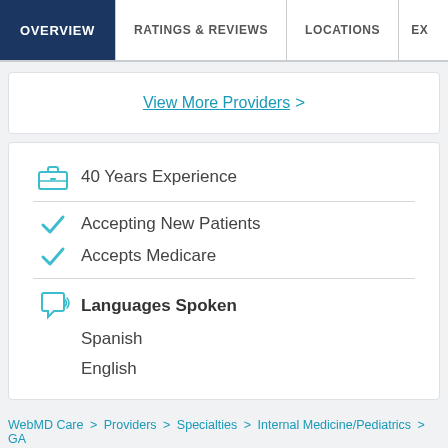OVERVIEW | RATINGS & REVIEWS | LOCATIONS | EX
View More Providers >
40 Years Experience
Accepting New Patients
Accepts Medicare
Languages Spoken: Spanish, English
WebMD Care > Providers > Specialties > Internal Medicine/Pediatrics > GA